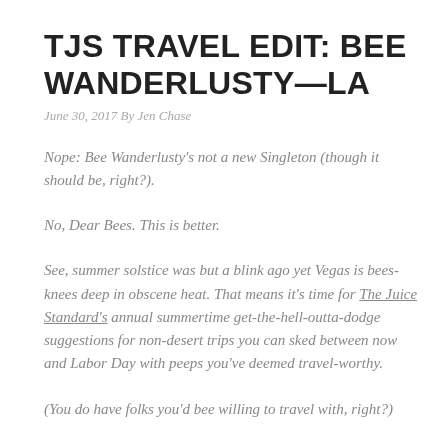TJS TRAVEL EDIT: BEE WANDERLUSTY—LA
June 30, 2017 By Jen Chase
Nope: Bee Wanderlusty's not a new Singleton (though it should be, right?).
No, Dear Bees. This is better.
See, summer solstice was but a blink ago yet Vegas is bees-knees deep in obscene heat. That means it's time for The Juice Standard's annual summertime get-the-hell-outta-dodge suggestions for non-desert trips you can sked between now and Labor Day with peeps you've deemed travel-worthy.
(You do have folks you'd bee willing to travel with, right?)